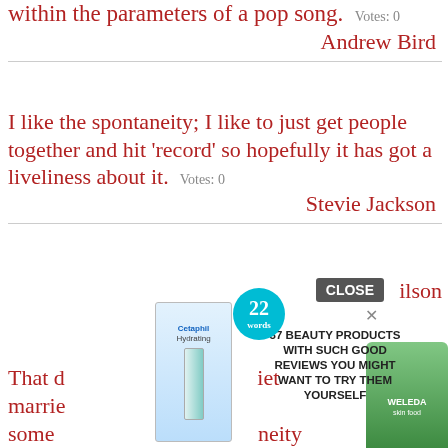within the parameters of a pop song. Votes: 0
Andrew Bird
I like the spontaneity; I like to just get people together and hit 'record' so hopefully it has got a liveliness about it. Votes: 0
Stevie Jackson
Once a decision is made to be tasteful and risk-free, all spark, soul, variety, sleaze, spontaneity and fun go right out the window
Votes: 0
[Figure (screenshot): Advertisement overlay showing beauty products with text '37 BEAUTY PRODUCTS WITH SUCH GOOD REVIEWS YOU MIGHT WANT TO TRY THEM YOURSELF' and a CLOSE button, with Cetaphil and Weleda product images]
Gillian Wilson
That d... et marrie... some... neity